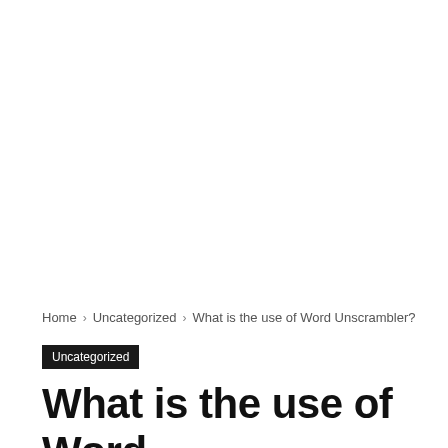Home › Uncategorized › What is the use of Word Unscrambler?
Uncategorized
What is the use of Word Unscrambler?